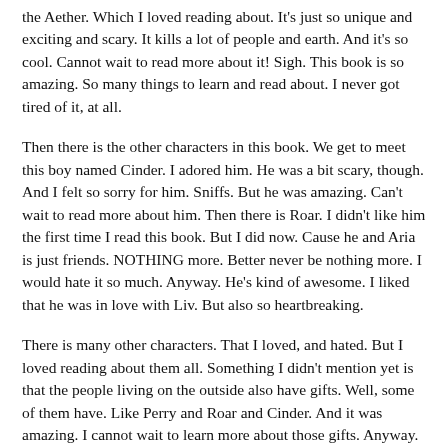the Aether. Which I loved reading about. It's just so unique and exciting and scary. It kills a lot of people and earth. And it's so cool. Cannot wait to read more about it! Sigh. This book is so amazing. So many things to learn and read about. I never got tired of it, at all.
Then there is the other characters in this book. We get to meet this boy named Cinder. I adored him. He was a bit scary, though. And I felt so sorry for him. Sniffs. But he was amazing. Can't wait to read more about him. Then there is Roar. I didn't like him the first time I read this book. But I did now. Cause he and Aria is just friends. NOTHING more. Better never be nothing more. I would hate it so much. Anyway. He's kind of awesome. I liked that he was in love with Liv. But also so heartbreaking.
There is many other characters. That I loved, and hated. But I loved reading about them all. Something I didn't mention yet is that the people living on the outside also have gifts. Well, some of them have. Like Perry and Roar and Cinder. And it was amazing. I cannot wait to learn more about those gifts. Anyway. The ending of this book is amazing. But I